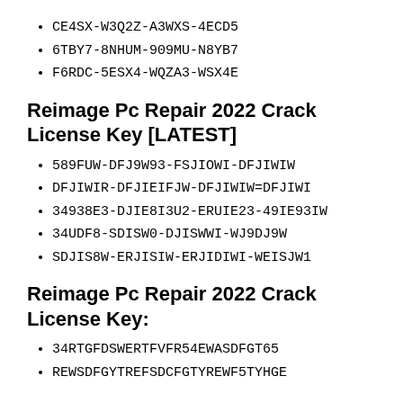CE4SX-W3Q2Z-A3WXS-4ECD5
6TBY7-8NHUM-909MU-N8YB7
F6RDC-5ESX4-WQZA3-WSX4E
Reimage Pc Repair 2022 Crack License Key [LATEST]
589FUW-DFJ9W93-FSJIOWI-DFJIWIW
DFJIWIR-DFJIEIFJW-DFJIWIW=DFJIWI
34938E3-DJIE8I3U2-ERUIE23-49IE93IW
34UDF8-SDISW0-DJISWWI-WJ9DJ9W
SDJIS8W-ERJISIW-ERJIDIWI-WEISJW1
Reimage Pc Repair 2022 Crack License Key:
34RTGFDSWERTFVFR54EWASDFGT65
REWSDFGYTREFSDCFGTYREWF5TYHGE